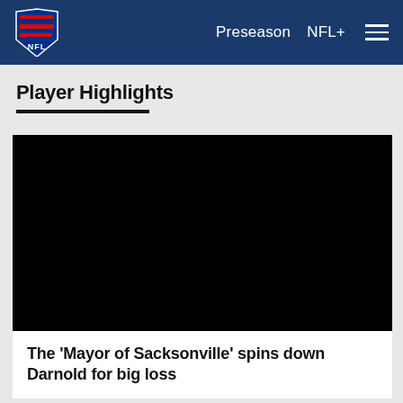NFL  Preseason  NFL+
Player Highlights
[Figure (screenshot): Black video thumbnail placeholder for NFL player highlights video]
The 'Mayor of Sacksonville' spins down Darnold for big loss